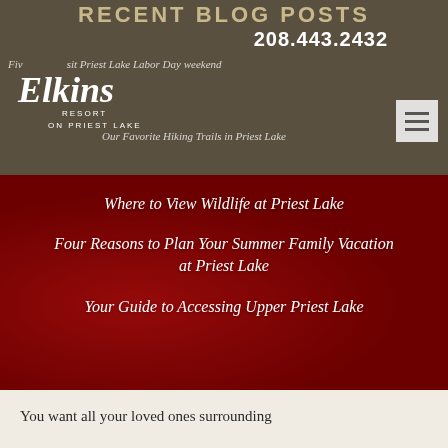RECENT BLOG POSTS
208.443.2432
Five Reasons to Visit Priest Lake Labor Day Weekend
[Figure (logo): Elkins Resort on Priest Lake logo in white cursive script]
Our Favorite Hiking Trails in Priest Lake
Where to View Wildlife at Priest Lake
Four Reasons to Plan Your Summer Family Vacation at Priest Lake
Your Guide to Accessing Upper Priest Lake
You want all your loved ones surrounding